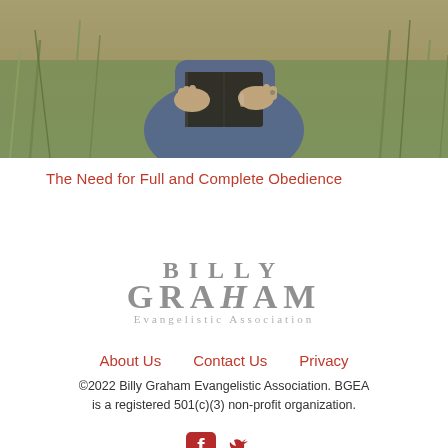[Figure (photo): Person sitting outdoors in grass field holding a book (Bible), photograph cropped to show hands and upper body]
The Need for Full and Complete Obedience
[Figure (logo): Billy Graham Evangelistic Association logo in gray serif text]
About Us   Contact Us   Privacy
©2022 Billy Graham Evangelistic Association. BGEA is a registered 501(c)(3) non-profit organization.
[Figure (other): Facebook and Twitter social media icons in dark red/crimson color]